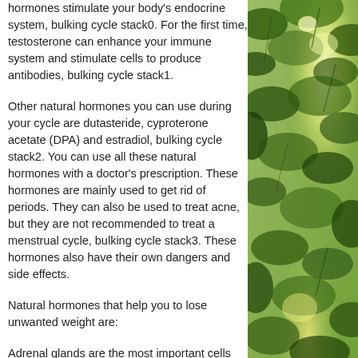hormones stimulate your body's endocrine system, bulking cycle stack0. For the first time, testosterone can enhance your immune system and stimulate cells to produce antibodies, bulking cycle stack1.
Other natural hormones you can use during your cycle are dutasteride, cyproterone acetate (DPA) and estradiol, bulking cycle stack2. You can use all these natural hormones with a doctor's prescription. These hormones are mainly used to get rid of periods. They can also be used to treat acne, but they are not recommended to treat a menstrual cycle, bulking cycle stack3. These hormones also have their own dangers and side effects.
Natural hormones that help you to lose unwanted weight are:
Adrenal glands are the most important cells
[Figure (photo): Photograph of sunlit green foliage/leaves with bright sunlight filtering through, positioned on the right side of the page.]